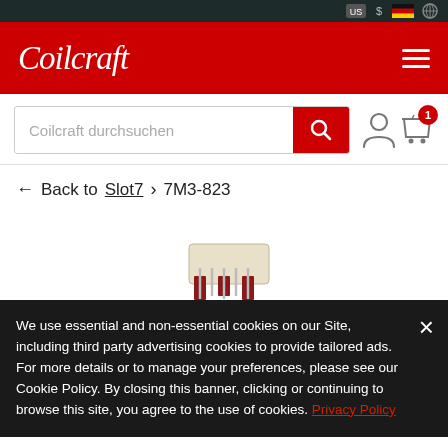Coilcraft
[Figure (screenshot): Coilcraft website screenshot showing logo, search bar, breadcrumb navigation (Back to Slot7 > 7M3-823), a partial product photo of an electronic component, and a cookie consent banner with Privacy Policy link.]
Coilcraft durchsuchen
← Back to Slot7 > 7M3-823
We use essential and non-essential cookies on our Site, including third party advertising cookies to provide tailored ads. For more details or to manage your preferences, please see our Cookie Policy. By closing this banner, clicking or continuing to browse this site, you agree to the use of cookies. Privacy Policy